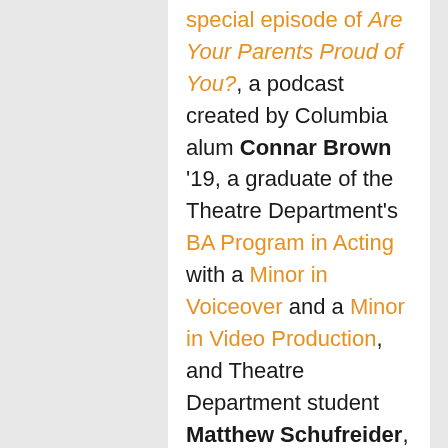special episode of Are Your Parents Proud of You?, a podcast created by Columbia alum Connar Brown '19, a graduate of the Theatre Department's BA Program in Acting with a Minor in Voiceover and a Minor in Video Production, and Theatre Department student Matthew Schufreider, a junior in the Acting BA program with a Minor in Education.
Garrett will teach the Topics in Playwriting course “Black Women and Experimental Theatre” in the Spring 2020 semester and will be working on developing a new play during her